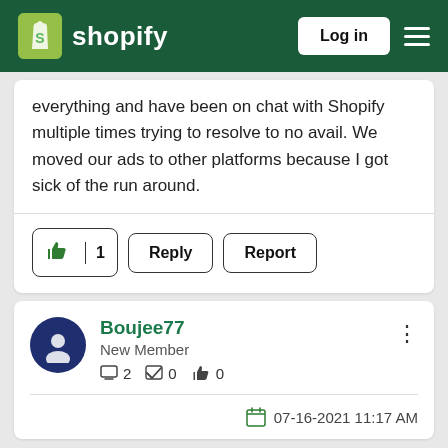Shopify Log in
everything and have been on chat with Shopify multiple times trying to resolve to no avail. We moved our ads to other platforms because I got sick of the run around.
👍 1  Reply  Report
Boujee77
New Member
💬 2  ✅ 0  👍 0
07-16-2021 11:17 AM